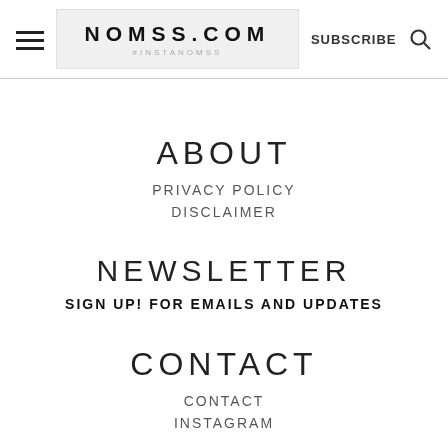NOMSS.COM #INSTANOMSS | SUBSCRIBE
ABOUT
PRIVACY POLICY
DISCLAIMER
NEWSLETTER
SIGN UP! FOR EMAILS AND UPDATES
CONTACT
CONTACT
INSTAGRAM